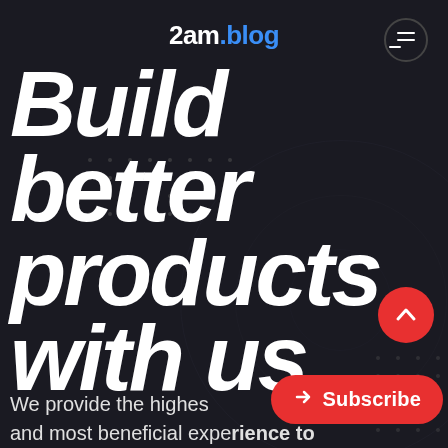2am.blog
Build better products with us
We provide the highest and most beneficial experience to
[Figure (logo): Red subscribe button with arrow icon and text 'Subscribe']
[Figure (other): Red circular scroll-up button with caret/chevron icon]